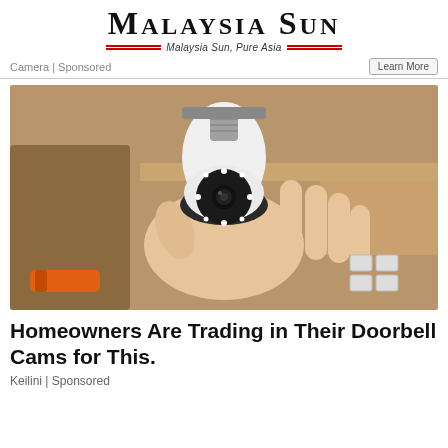Malaysia Sun — Malaysia Sun, Pure Asia
Camera | Sponsored
[Figure (photo): A hand holding a white bulb-shaped security camera device with a screw-in light bulb base (E27 socket) and a camera lens with LED ring on the front, held against a brown cardboard background with an orange tool handle visible in the lower left.]
Homeowners Are Trading in Their Doorbell Cams for This.
Keilini | Sponsored